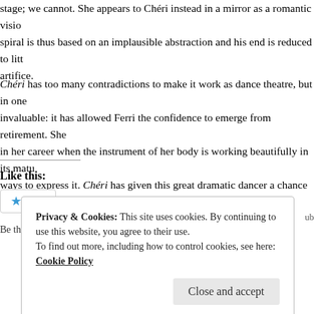stage; we cannot. She appears to Chéri instead in a mirror as a romantic visio... spiral is thus based on an implausible abstraction and his end is reduced to litt... artifice.
Chéri has too many contradictions to make it work as dance theatre, but in one... invaluable: it has allowed Ferri the confidence to emerge from retirement. She... in her career when the instrument of her body is working beautifully in its matu... ways to express it. Chéri has given this great dramatic dancer a chance to find...
Like this:
Be the first to like this.
Privacy & Cookies: This site uses cookies. By continuing to use this website, you agree to their use. To find out more, including how to control cookies, see here: Cookie Policy